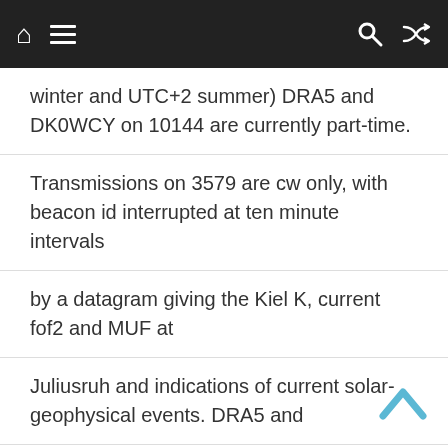Navigation bar with home, menu, search, and shuffle icons
winter and UTC+2 summer) DRA5 and DK0WCY on 10144 are currently part-time.
Transmissions on 3579 are cw only, with beacon id interrupted at ten minute intervals
by a datagram giving the Kiel K, current fof2 and MUF at
Juliusruh and indications of current solar-geophysical events. DRA5 and
DK0WCY on 10MHz carry the